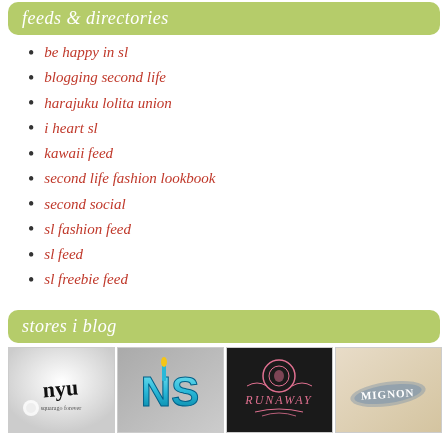feeds & directories
be happy in sl
blogging second life
harajuku lolita union
i heart sl
kawaii feed
second life fashion lookbook
second social
sl fashion feed
sl feed
sl freebie feed
stores i blog
[Figure (photo): Four store logo thumbnails in a row: NYU/squarago forever, NS (blue 3D letters), Runaway, Mignon]
[Figure (photo): NYU squarago forever logo - black cursive text on white/grey background]
[Figure (photo): NS blue 3D metallic letters logo on grey background]
[Figure (photo): Runaway logo - pink ornate text on dark background]
[Figure (photo): Mignon logo - handwritten text on beige/paper background]